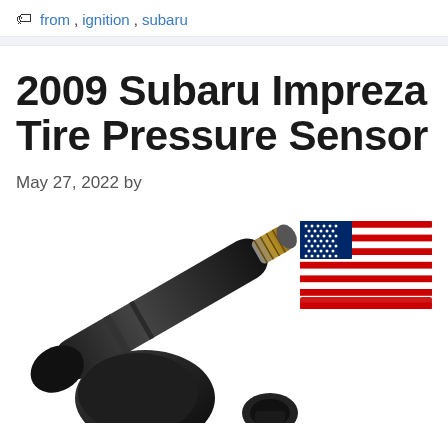from, ignition, subaru
2009 Subaru Impreza Tire Pressure Sensor
May 27, 2022 by
[Figure (photo): A black TPMS (Tire Pressure Monitoring System) sensor valve stem component, photographed close-up at an angle, with an illustrated American flag in the upper right corner.]